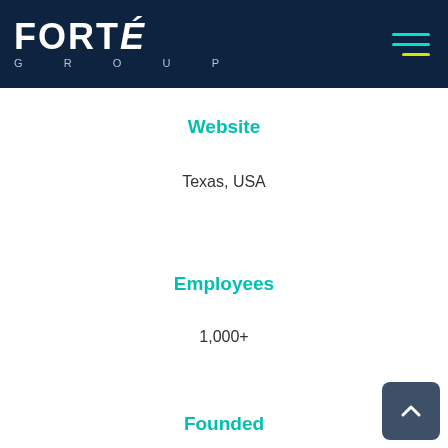[Figure (logo): Forte Group logo on dark navy background with hamburger menu icon]
Website
Texas, USA
Employees
1,000+
Founded